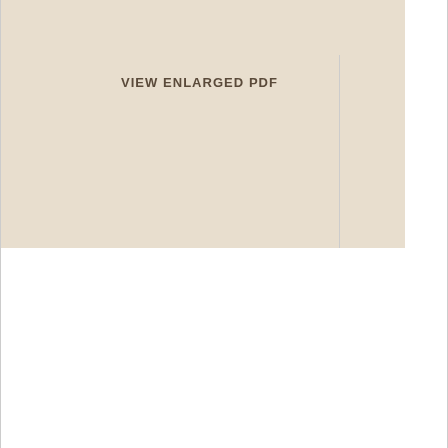five miles in length. Today, roll paper is still used in many presses.
[Figure (other): Table/grid layout with beige cells and text reading VIEW ENLARGED PDF in the center column]
VIEW ENLARGED PDF